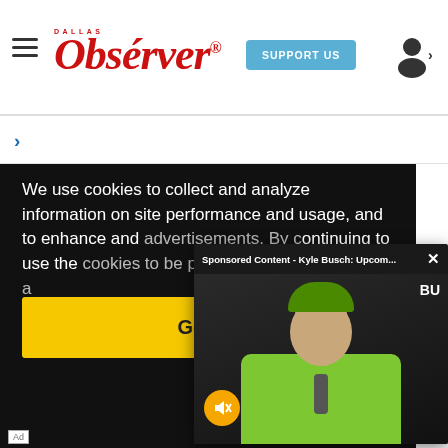Dallas Observer - SUPPORT US
N
We use cookies to collect and analyze information on site performance and usage, and to enhance and advertisements. By continuing to use the cookies to be placed our cookies policy a
Sponsored Content - Kyle Busch: Upcom... ×
[Figure (screenshot): Video popup showing Kyle Busch in a green polo shirt holding a microphone, with a NASCAR logo in the background. Title bar reads 'Sponsored Content - Kyle Busch: Upcom...' with a close (X) button. A muted (speaker with X) orange circle button is visible on the left side of the video.]
Got it!